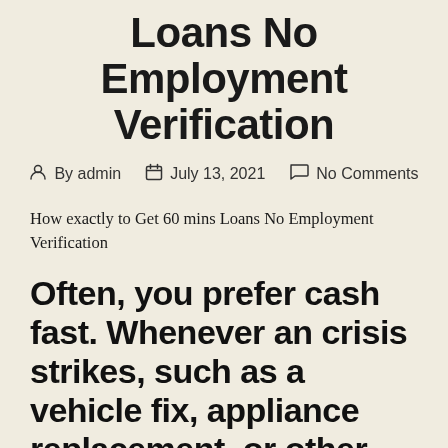Loans No Employment Verification
By admin   July 13, 2021   No Comments
How exactly to Get 60 mins Loans No Employment Verification
Often, you prefer cash fast. Whenever an crisis strikes, such as a vehicle fix, appliance replacement, or other expense that can’t